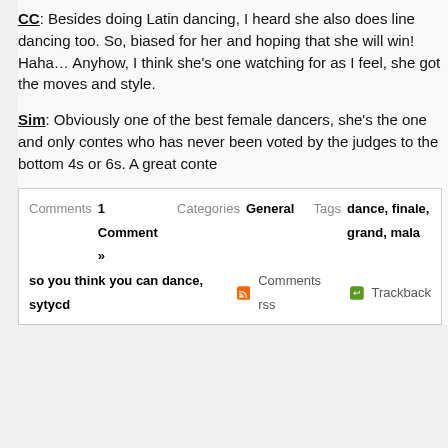CC: Besides doing Latin dancing, I heard she also does line dancing too. So, biased for her and hoping that she will win! Haha… Anyhow, I think she's one watching for as I feel, she got the moves and style.
Sim: Obviously one of the best female dancers, she's the one and only contes who has never been voted by the judges to the bottom 4s or 6s. A great conte
| Comments | 1 Comment » | Categories | General | Tags | dance, finale, grand, mala |
| so you think you can dance, sytycd |  | Comments rss |  | Trackback |  |